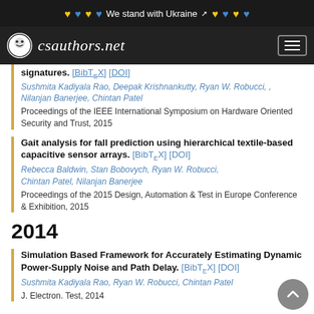We stand with Ukraine — csauthors.net
signatures. [BibTeX] [DOI]
Sushmita Kadiyala Rao, Deepak Krishnankutty, Ryan W. Robucci, Nilanjan Banerjee, Chintan Patel
Proceedings of the IEEE International Symposium on Hardware Oriented Security and Trust, 2015
Gait analysis for fall prediction using hierarchical textile-based capacitive sensor arrays. [BibTeX] [DOI]
Rebecca Baldwin, Stan Bobovych, Ryan W. Robucci, Chintan Patel, Nilanjan Banerjee
Proceedings of the 2015 Design, Automation & Test in Europe Conference & Exhibition, 2015
2014
Simulation Based Framework for Accurately Estimating Dynamic Power-Supply Noise and Path Delay. [BibTeX] [DOI]
Sushmita Kadiyala Rao, Ryan W. Robucci, Chintan Patel
J. Electron. Test, 2014